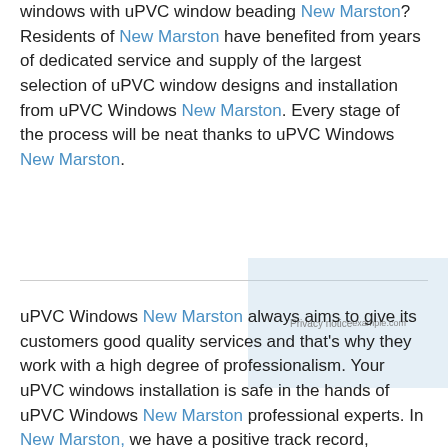windows with uPVC window beading New Marston? Residents of New Marston have benefited from years of dedicated service and supply of the largest selection of uPVC window designs and installation from uPVC Windows New Marston. Every stage of the process will be neat thanks to uPVC Windows New Marston.
uPVC Windows New Marston always aims to give its customers good quality services and that's why they work with a high degree of professionalism. Your uPVC windows installation is safe in the hands of uPVC Windows New Marston professional experts. In New Marston, we have a positive track record, making us reputable in the region, since we have been delivering spectacular